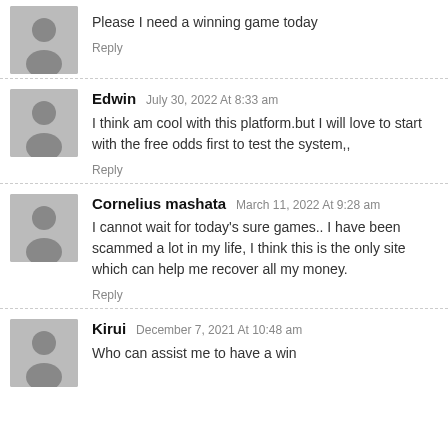Please I need a winning game today
Reply
Edwin July 30, 2022 At 8:33 am
I think am cool with this platform.but I will love to start with the free odds first to test the system,,
Reply
Cornelius mashata March 11, 2022 At 9:28 am
I cannot wait for today's sure games.. I have been scammed a lot in my life, I think this is the only site which can help me recover all my money.
Reply
Kirui December 7, 2021 At 10:48 am
Who can assist me to have a win